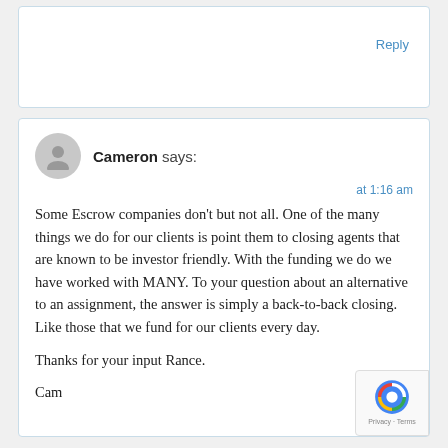Reply
Cameron says:
at 1:16 am
Some Escrow companies don't but not all. One of the many things we do for our clients is point them to closing agents that are known to be investor friendly. With the funding we do we have worked with MANY. To your question about an alternative to an assignment, the answer is simply a back-to-back closing. Like those that we fund for our clients every day.

Thanks for your input Rance.

Cam
Reply